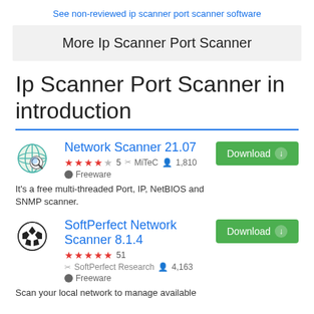See non-reviewed ip scanner port scanner software
More Ip Scanner Port Scanner
Ip Scanner Port Scanner in introduction
Network Scanner 21.07 — ★★★★☆ 5 | MiTeC | 1,810 | Freeware | Download | It's a free multi-threaded Port, IP, NetBIOS and SNMP scanner.
SoftPerfect Network Scanner 8.1.4 — ★★★★★ 51 | SoftPerfect Research | 4,163 | Freeware | Download | Scan your local network to manage available